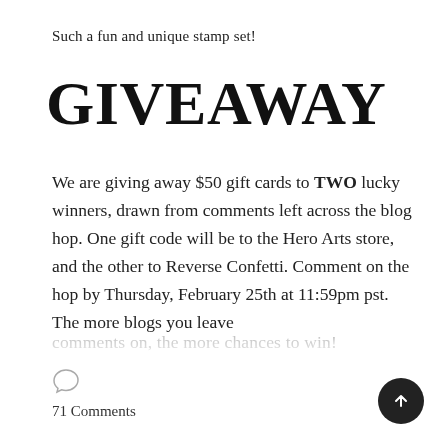Such a fun and unique stamp set!
GIVEAWAY
We are giving away $50 gift cards to TWO lucky winners, drawn from comments left across the blog hop. One gift code will be to the Hero Arts store, and the other to Reverse Confetti. Comment on the hop by Thursday, February 25th at 11:59pm pst. The more blogs you leave comments on, the more chances to win!
71 Comments